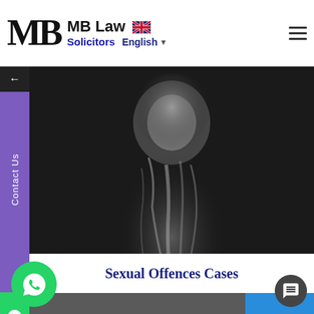MB Law Solicitors — English
[Figure (photo): Black and white photograph of a person with smoke or vapor rising, dark background]
Sexual Offences Cases
[Figure (photo): Close-up photograph of handcuffs on a person's wrists, with a blue-sleeved figure in the background]